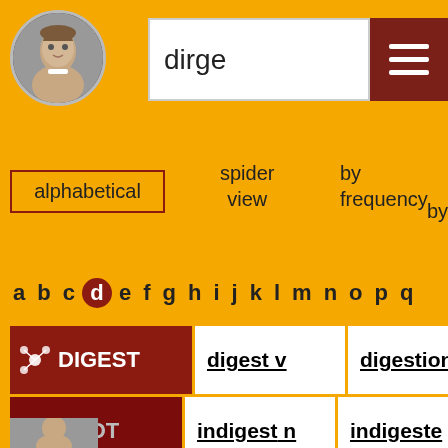[Figure (screenshot): Shakespeare portrait in circular frame]
dirge
[Figure (illustration): Hamburger menu button (three white lines on dark red background)]
alphabetical
spider view
by frequency
by
a b c d e f g h i j k l m n o p q
| DIGEST | digest v | digestion n |
| NOT | indigest n | indigeste |
[Figure (photo): Small Shakespeare portrait at bottom]